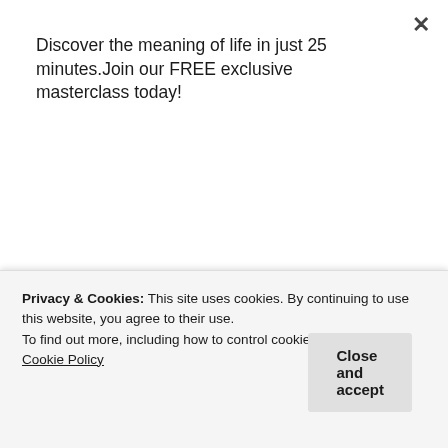Discover the meaning of life in just 25 minutes.Join our FREE exclusive masterclass today!
Count me in!
We might not have the power over how people behave, but we can certainly do something in our personal lives.
We can start living a healthy lifestyle and follow God's food laws.
Privacy & Cookies: This site uses cookies. By continuing to use this website, you agree to their use.
To find out more, including how to control cookies, see here: Cookie Policy
Close and accept